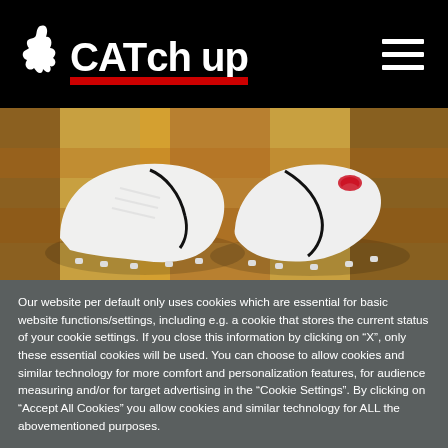CATchup
[Figure (photo): Photo of white PUMA football/soccer cleats with decorative red lips print detail, placed on an ornate colorful carpet/rug background]
Our website per default only uses cookies which are essential for basic website functions/settings, including e.g. a cookie that stores the current status of your cookie settings. If you close this information by clicking on “X”, only these essential cookies will be used. You can choose to allow cookies and similar technology for more comfort and personalization features, for audience measuring and/or for target advertising in the “Cookie Settings”. By clicking on “Accept All Cookies” you allow cookies and similar technology for ALL the abovementioned purposes.
Cookie Settings
✓ Accept all Cookies